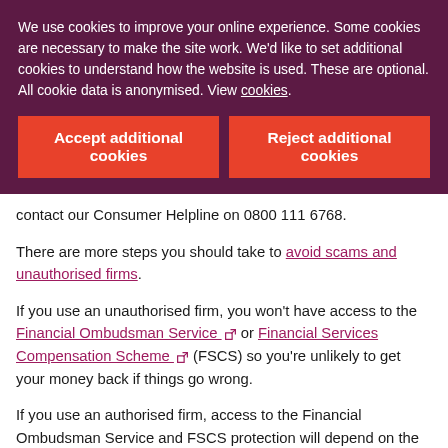We use cookies to improve your online experience. Some cookies are necessary to make the site work. We'd like to set additional cookies to understand how the website is used. These are optional. All cookie data is anonymised. View cookies.
Accept additional cookies
Reject additional cookies
contact our Consumer Helpline on 0800 111 6768.
There are more steps you should take to avoid scams and unauthorised firms.
If you use an unauthorised firm, you won't have access to the Financial Ombudsman Service or Financial Services Compensation Scheme (FSCS) so you're unlikely to get your money back if things go wrong.
If you use an authorised firm, access to the Financial Ombudsman Service and FSCS protection will depend on the investment you are making and the service the firm is providing. If you would like further